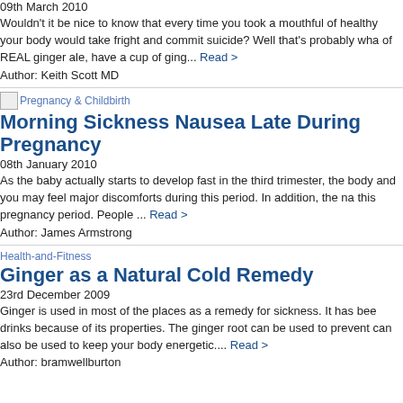09th March 2010
Wouldn't it be nice to know that every time you took a mouthful of healthy your body would take fright and commit suicide? Well that's probably wha of REAL ginger ale, have a cup of ging... Read >
Author: Keith Scott MD
[Figure (illustration): Small image placeholder for Pregnancy & Childbirth category]
Pregnancy & Childbirth
Morning Sickness Nausea Late During Pregnancy
08th January 2010
As the baby actually starts to develop fast in the third trimester, the body and you may feel major discomforts during this period. In addition, the na this pregnancy period. People ... Read >
Author: James Armstrong
Health-and-Fitness
Ginger as a Natural Cold Remedy
23rd December 2009
Ginger is used in most of the places as a remedy for sickness. It has bee drinks because of its properties. The ginger root can be used to prevent can also be used to keep your body energetic.... Read >
Author: bramwellburton